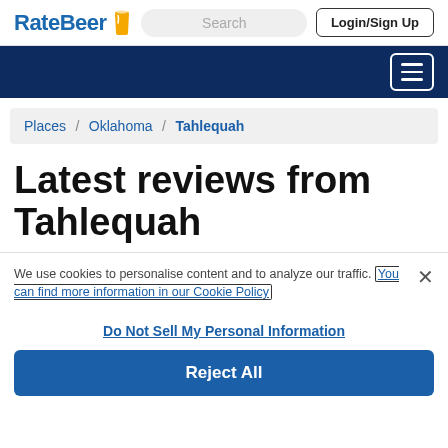RateBeer | Search | Login/Sign Up
[Figure (screenshot): RateBeer website header with logo, search box, and Login/Sign Up button]
Places / Oklahoma / Tahlequah
Latest reviews from Tahlequah
We use cookies to personalise content and to analyze our traffic. You can find more information in our Cookie Policy
Do Not Sell My Personal Information
Reject All